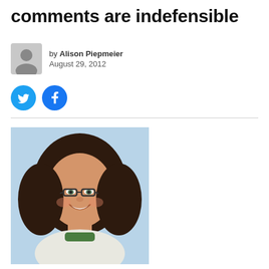comments are indefensible
by Alison Piepmeier
August 29, 2012
[Figure (illustration): Twitter and Facebook social share buttons (cyan circles with white bird and f icons)]
[Figure (photo): Photo of a smiling woman with curly brown hair wearing glasses and a white and green t-shirt]